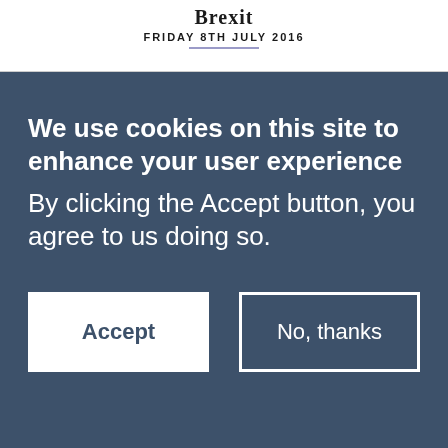Brexit
FRIDAY 8TH JULY 2016
We use cookies on this site to enhance your user experience
By clicking the Accept button, you agree to us doing so.
Accept
No, thanks